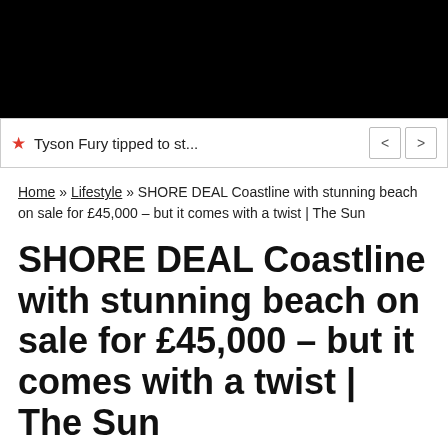[Figure (photo): Black rectangle image at the top of the page]
Tyson Fury tipped to st...
Home » Lifestyle » SHORE DEAL Coastline with stunning beach on sale for £45,000 – but it comes with a twist | The Sun
SHORE DEAL Coastline with stunning beach on sale for £45,000 – but it comes with a twist | The Sun
06/08/2022
A BEAUTIFUL stretch of the Welsh coast could be